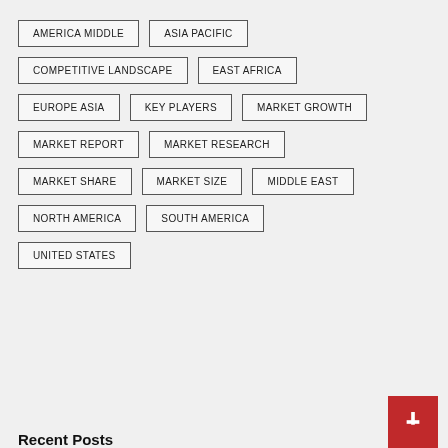AMERICA MIDDLE
ASIA PACIFIC
COMPETITIVE LANDSCAPE
EAST AFRICA
EUROPE ASIA
KEY PLAYERS
MARKET GROWTH
MARKET REPORT
MARKET RESEARCH
MARKET SHARE
MARKET SIZE
MIDDLE EAST
NORTH AMERICA
SOUTH AMERICA
UNITED STATES
Recent Posts